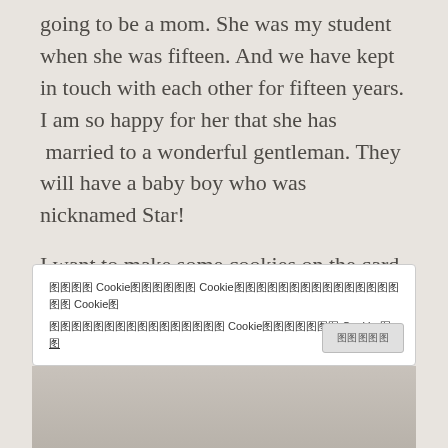going to be a mom. She was my student when she was fifteen. And we have kept in touch with each other for fifteen years. I am so happy for her that she has  married to a wonderful gentleman. They will have a baby boy who was nicknamed Star!
I want to make some cookies on the card for the little baby boy Star!
Here is how I've created my card...
Cookie banner with Japanese/Chinese text referencing cookies and cookie settings.
[Figure (photo): Partial view of a handmade card with cookies at the bottom of the page]